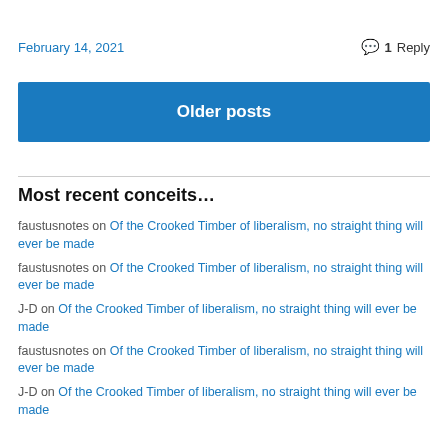February 14, 2021
1 Reply
Older posts
Most recent conceits…
faustusnotes on Of the Crooked Timber of liberalism, no straight thing will ever be made
faustusnotes on Of the Crooked Timber of liberalism, no straight thing will ever be made
J-D on Of the Crooked Timber of liberalism, no straight thing will ever be made
faustusnotes on Of the Crooked Timber of liberalism, no straight thing will ever be made
J-D on Of the Crooked Timber of liberalism, no straight thing will ever be made